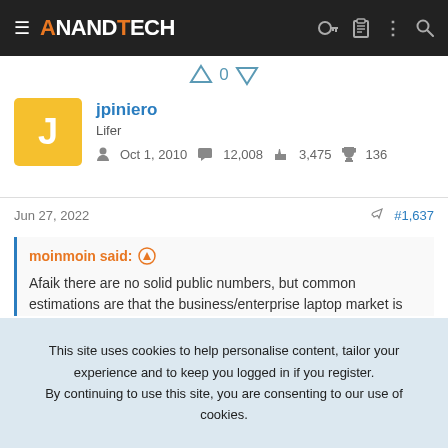AnandTech
0
jpiniero
Lifer
Oct 1, 2010   12,008   3,475   136
Jun 27, 2022   #1,637
moinmoin said:
Afaik there are no solid public numbers, but common estimations are that the business/enterprise laptop market is around half of the total
This site uses cookies to help personalise content, tailor your experience and to keep you logged in if you register.
By continuing to use this site, you are consenting to our use of cookies.